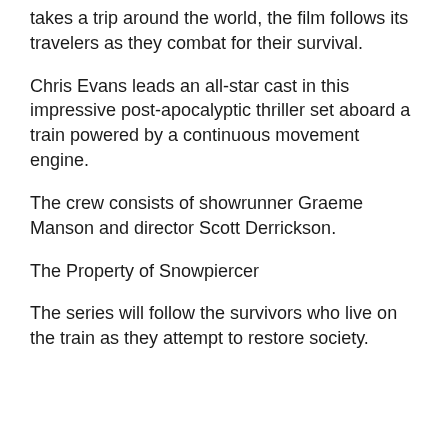takes a trip around the world, the film follows its travelers as they combat for their survival.
Chris Evans leads an all-star cast in this impressive post-apocalyptic thriller set aboard a train powered by a continuous movement engine.
The crew consists of showrunner Graeme Manson and director Scott Derrickson.
The Property of Snowpiercer
The series will follow the survivors who live on the train as they attempt to restore society.